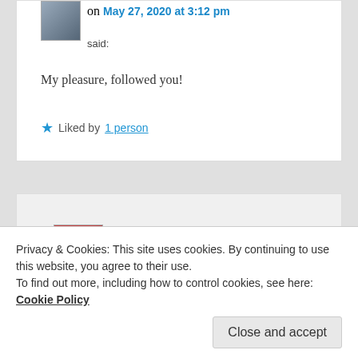on May 27, 2020 at 3:12 pm said:
My pleasure, followed you!
★ Liked by 1 person
limetwiste on May 27, 2020 at 3:17 pm said:
Followed you back! Enjoy your day.
Privacy & Cookies: This site uses cookies. By continuing to use this website, you agree to their use.
To find out more, including how to control cookies, see here: Cookie Policy
Close and accept